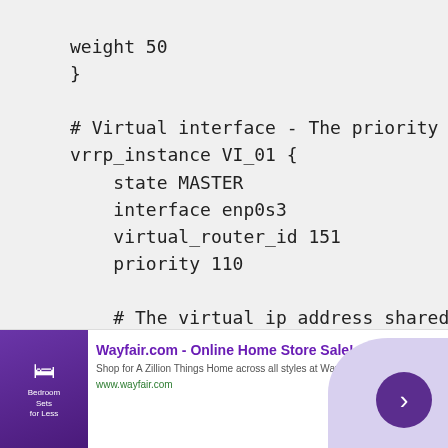weight 50
}

# Virtual interface - The priority specifies the order
vrrp_instance VI_01 {
    state MASTER
    interface enp0s3
    virtual_router_id 151
    priority 110

    # The virtual ip address shared between the two h
    virtual_ipaddress {
        192.168.1.150/24
    }
    track_script {
        check_nginx
    }
[Figure (other): Wayfair.com advertisement banner showing bedroom furniture sale with purple chevron arrow button and close button]